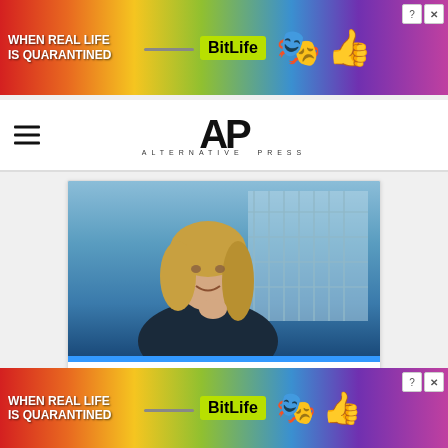[Figure (screenshot): BitLife advertisement banner with rainbow gradient background, text 'WHEN REAL LIFE IS QUARANTINED' and BitLife logo with emoji mascots, close button in top right]
[Figure (logo): Alternative Press (AP) logo with large stylized AP letters and ALTERNATIVE PRESS text below]
[Figure (photo): Sponsored advertisement card featuring photo of blonde woman (Dr. KellyAnn), blue strip, sponsored text, headline 'Doctor Says Slimming Down After 60 Comes Down to This', and blue SEE MORE button]
[Figure (screenshot): Second BitLife advertisement banner at bottom, same rainbow gradient with 'WHEN REAL LIFE IS QUARANTINED' and BitLife logo]